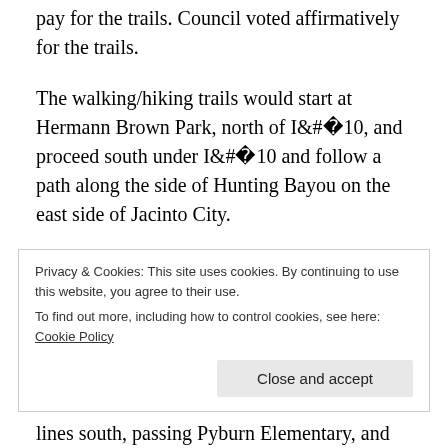pay for the trails. Council voted affirmatively for the trails.
The walking/hiking trails would start at Hermann Brown Park, north of I-10, and proceed south under I-10 and follow a path along the side of Hunting Bayou on the east side of Jacinto City.
It would pass close to Tinseltown, Market Street, have a side loop around Mercury, Main, Holland, and end near 19th Street. It would incorporate or supplement the FFA barn, the CP ballfields, and
Privacy & Cookies: This site uses cookies. By continuing to use this website, you agree to their use.
To find out more, including how to control cookies, see here: Cookie Policy
lines south, passing Pyburn Elementary, and